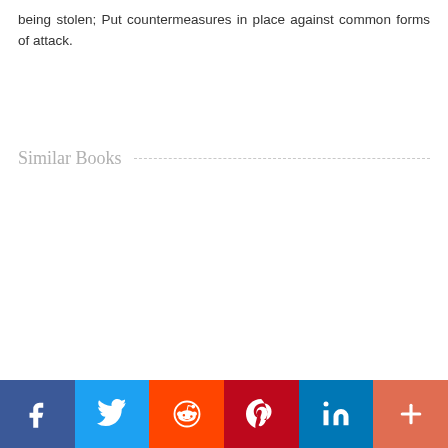being stolen; Put countermeasures in place against common forms of attack.
Similar Books
[Figure (infographic): Social sharing bar with buttons for Facebook, Twitter, Reddit, Pinterest, LinkedIn, and More (+)]